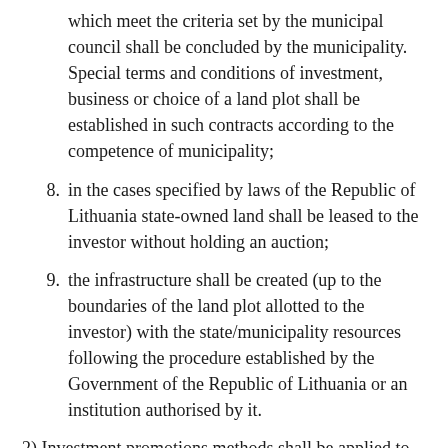which meet the criteria set by the municipal council shall be concluded by the municipality. Special terms and conditions of investment, business or choice of a land plot shall be established in such contracts according to the competence of municipality;
8. in the cases specified by laws of the Republic of Lithuania state-owned land shall be leased to the investor without holding an auction;
9. the infrastructure shall be created (up to the boundaries of the land plot allotted to the investor) with the state/municipality resources following the procedure established by the Government of the Republic of Lithuania or an institution authorised by it.
2) Investment promotions methods shall be applied to the extend this is not in breach of the EU legislation on